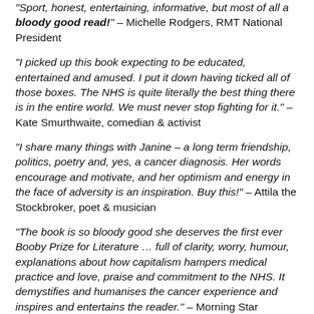“Sport, honest, entertaining, informative, but most of all a bloody good read!” – Michelle Rodgers, RMT National President
“I picked up this book expecting to be educated, entertained and amused. I put it down having ticked all of those boxes. The NHS is quite literally the best thing there is in the entire world. We must never stop fighting for it.” – Kate Smurthwaite, comedian & activist
“I share many things with Janine – a long term friendship, politics, poetry and, yes, a cancer diagnosis. Her words encourage and motivate, and her optimism and energy in the face of adversity is an inspiration. Buy this!” – Attila the Stockbroker, poet & musician
“The book is so bloody good she deserves the first ever Booby Prize for Literature … full of clarity, worry, humour, explanations about how capitalism hampers medical practice and love, praise and commitment to the NHS. It demystifies and humanises the cancer experience and inspires and entertains the reader.” – Morning Star
“Janine’s openness, humour and honesty, combined with her poetic sensibility, leads us by the hand through her experience with cancer. Although her manner is often